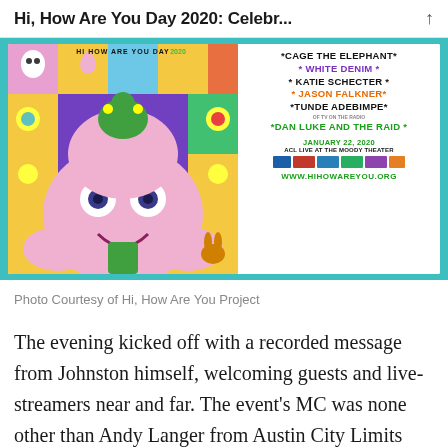Hi, How Are You Day 2020: Celebr...
[Figure (photo): Event poster for Hi, How Are You Day 2020 featuring colorful cartoon artwork on the left and performer listings on the right: Cage The Elephant, White Denim, Katie Schecter, Jason Falkner, Tunde Adebimpe, Dan Luke and the Raid. January 22, 2020 ACL Live at the Moody Theater. www.hihowareyou.org]
Photo Courtesy of Hi, How Are You Project
The evening kicked off with a recorded message from Johnston himself, welcoming guests and live-streamers near and far. The event's MC was none other than Andy Langer from Austin City Limits Radio, our beloved ambassador of all